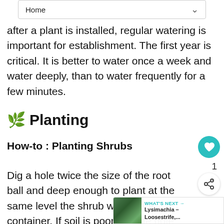Home
after a plant is installed, regular watering is important for establishment. The first year is critical. It is better to water once a week and water deeply, than to water frequently for a few minutes.
🌿 Planting
How-to : Planting Shrubs
Dig a hole twice the size of the root ball and deep enough to plant at the same level the shrub was in the container. If soil is poor, dig the hole even wider and fill with a mixture half original soil and half compost or soil
WHAT'S NEXT → Lysimachia – Loosestrife,...